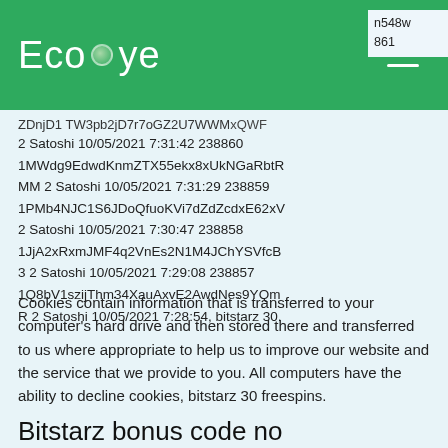Ecofye
n548w 861 xQWF
ZDnjD1 TW3pb2jD7r7oGZ2U7WWMxQWF
2 Satoshi 10/05/2021 7:31:42 238860 1MWdg9EdwdKnmZTX55ekx8xUkNGaRbtRMM 2 Satoshi 10/05/2021 7:31:29 238859 1PMb4NJC1S6JDoQfuoKVi7dZdZcdxE62xV 2 Satoshi 10/05/2021 7:30:47 238858 1JjA2xRxmJMF4q2VnEs2N1M4JChYSVfcB3 2 Satoshi 10/05/2021 7:29:08 238857 1Q8bV1szijThm34XauAxvE2AwdNes9YQmR 2 Satoshi 10/05/2021 7:28:54, bitstarz 30.
Cookies contain information that is transferred to your computer's hard drive and then stored there and transferred to us where appropriate to help us to improve our website and the service that we provide to you. All computers have the ability to decline cookies, bitstarz 30 freespins.
Bitstarz bonus code no